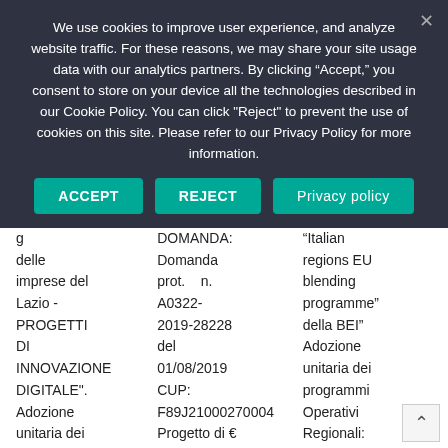We use cookies to improve user experience, and analyze website traffic. For these reasons, we may share your site usage data with our analytics partners. By clicking “Accept,” you consent to store on your device all the technologies described in our Cookie Policy. You can click "Reject" to prevent the use of cookies on this site. Please refer to our Privacy Policy for more information.
ACCEPT
REJECT
Privacy policy
| g
delle
imprese del
Lazio -
PROGETTI
DI
INNOVAZIONE
DIGITALE".
Adozione
unitaria dei
programmi
Operativi | DOMANDA:
Domanda
prot. n.
A0322-
2019-28228
del
01/08/2019
CUP:
F89J21000270004
Progetto di €
25.000,00 | “Italian
regions EU
blending
programme”
della BEI”
Adozione
unitaria dei
programmi
Operativi
Regionali:
“POR |